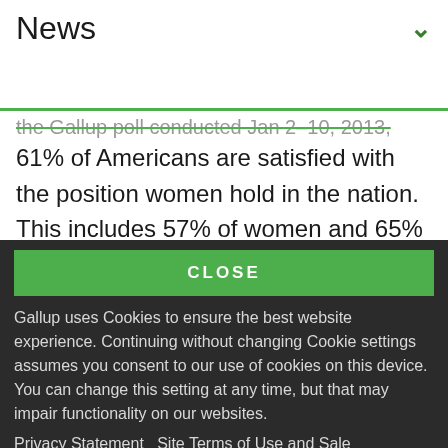News
the Nation poll conducted Jan 2–10, 2013, finds 61% of Americans are satisfied with the position women hold in the nation. This includes 57% of women and 65% of men, and it reflects a slight improvement among women (from 51% last year)
CLOSE
Gallup uses Cookies to ensure the best website experience. Continuing without changing Cookie settings assumes you consent to our use of cookies on this device. You can change this setting at any time, but that may impair functionality on our websites.
Privacy Statement   Site Terms of Use and Sale
Product Terms of Use   Adjust your cookie settings.